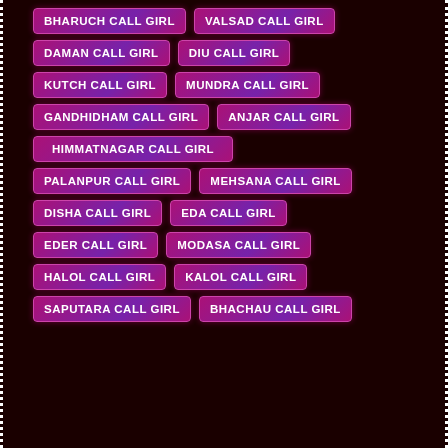BHARUCH CALL GIRL
VALSAD CALL GIRL
DAMAN CALL GIRL
DIU CALL GIRL
KUTCH CALL GIRL
MUNDRA CALL GIRL
GANDHIDHAM CALL GIRL
ANJAR CALL GIRL
HIMMATNAGAR CALL GIRL
PALANPUR CALL GIRL
MEHSANA CALL GIRL
DISHA CALL GIRL
EDA CALL GIRL
EDER CALL GIRL
MODASA CALL GIRL
HALOL CALL GIRL
KALOL CALL GIRL
SAPUTARA CALL GIRL
BHACHAU CALL GIRL